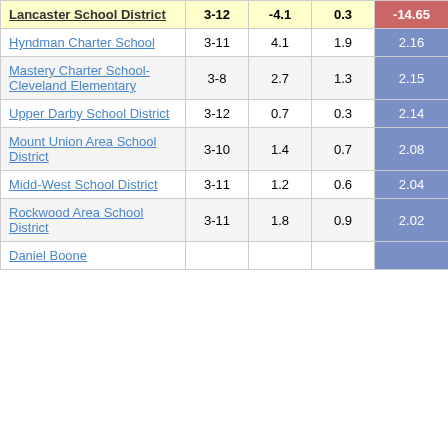| School/District | Grades | Col3 | Col4 | Score |
| --- | --- | --- | --- | --- |
| Lancaster School District | 3-12 | -4.1 | 0.3 | -14.65 |
| Hyndman Charter School | 3-11 | 4.1 | 1.9 | 2.16 |
| Mastery Charter School-Cleveland Elementary | 3-8 | 2.7 | 1.3 | 2.15 |
| Upper Darby School District | 3-12 | 0.7 | 0.3 | 2.14 |
| Mount Union Area School District | 3-10 | 1.4 | 0.7 | 2.08 |
| Midd-West School District | 3-11 | 1.2 | 0.6 | 2.04 |
| Rockwood Area School District | 3-11 | 1.8 | 0.9 | 2.02 |
| Daniel Boone |  |  |  |  |